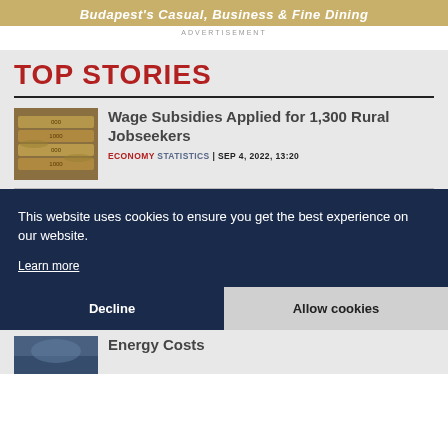[Figure (illustration): Advertisement banner with text: Budapest's Casual, Business & Fine Dining on a gold background]
ADVERTISEMENT
TOP STORIES
[Figure (photo): Thumbnail image of bundled banknotes/currency]
Wage Subsidies Applied for 1,300 Rural Jobseekers
ECONOMY STATISTICS | SEP 4, 2022, 13:20
This website uses cookies to ensure you get the best experience on our website.
Learn more
Decline
Allow cookies
Energy Costs